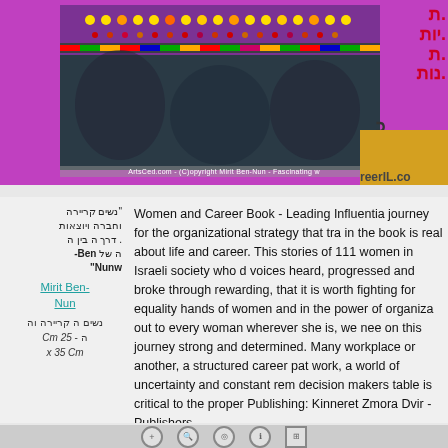[Figure (photo): Top portion of a webpage showing a decorative embroidered/beaded textile or garment with colorful patterns on a purple background, with Hebrew text and website branding (reerIL.co) on the right side. Copyright: ArtsCed.com - (C)opyright Mirit Ben-Nun - Fascinating w]
"[Hebrew text] Ben-Nunw"
Mirit Ben-Nun
[Hebrew text] - 25 Cm x 35 Cm
Women and Career Book - Leading Influential journey for the organizational strategy that tra in the book is real about life and career. This stories of 111 women in Israeli society who d voices heard, progressed and broke through rewarding, that it is worth fighting for equality hands of women and in the power of organiza out to every woman wherever she is, we nee on this journey strong and determined. Many workplace or another, a structured career pat work, a world of uncertainty and constant rem decision makers table is critical to the proper Publishing: Kinneret Zmora Dvir - Publishers